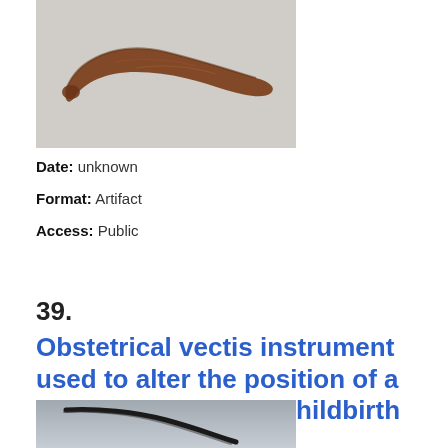[Figure (photo): Photograph of a curved brown wooden or bone artifact (obstetrical vectis instrument) on a light gray background]
Date: unknown
Format: Artifact
Access: Public
39.
Obstetrical vectis instrument used to alter the position of a babies head during childbirth
[Figure (photo): Partial photograph of a dark curved metal obstetrical instrument on a gray gradient background]